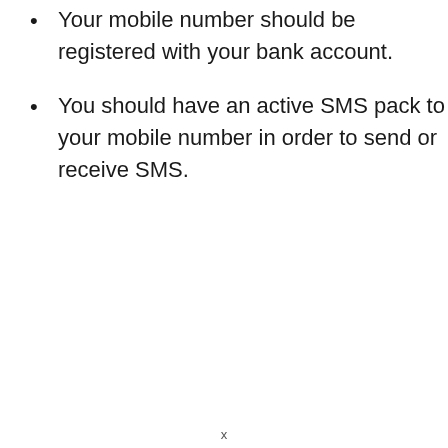Your mobile number should be registered with your bank account.
You should have an active SMS pack to your mobile number in order to send or receive SMS.